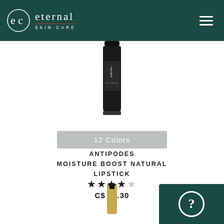eternal SKIN CARE
[Figure (photo): Antipodes Moisture Boost Natural Lipstick product in black tube with color swatch overlay showing 12 Colors]
12 Colors
ANTIPODES MOISTURE BOOST NATURAL LIPSTICK
★★★★☆ C$ 22.30
[Figure (photo): Partial view of a dropper bottle product at bottom of page]
[Figure (other): Teal help/chat button with question mark icon in bottom right corner]